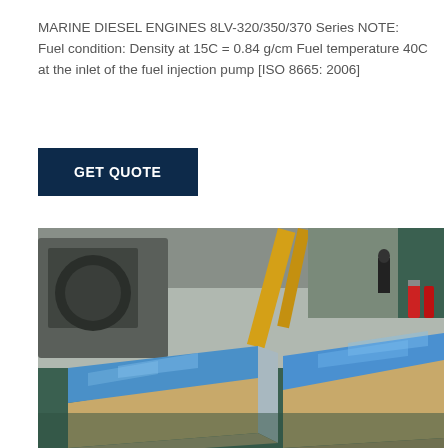MARINE DIESEL ENGINES 8LV-320/350/370 Series NOTE: Fuel condition: Density at 15C = 0.84 g/cm Fuel temperature 40C at the inlet of the fuel injection pump [ISO 8665: 2006]
GET QUOTE
[Figure (photo): Industrial warehouse photo showing two stacks of blue and silver metal sheets (likely aluminum plates) wrapped in beige/kraft paper, positioned on a factory floor. Background shows heavy industrial machinery, yellow cranes, and red fire extinguishers.]